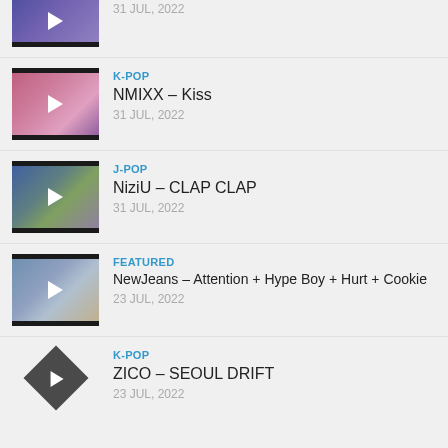31 JUL, 2022 (partial item cropped at top)
K-POP | NMIXX – Kiss | 31 JUL, 2022
J-POP | NiziU – CLAP CLAP | 31 JUL, 2022
FEATURED | NewJeans – Attention + Hype Boy + Hurt + Cookie | 23 JUL, 2022
K-POP | ZICO – SEOUL DRIFT | 23 JUL, 2022